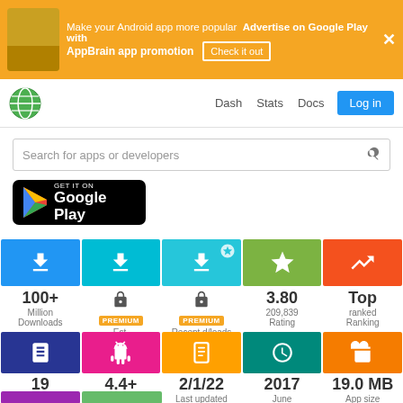[Figure (screenshot): AppBrain advertisement banner: Make your Android app more popular - Advertise on Google Play with AppBrain app promotion. Check it out button and close X.]
Dash  Stats  Docs  Log in
Search for apps or developers
[Figure (logo): GET IT ON Google Play badge]
| Stat | Value | Label |
| --- | --- | --- |
| Downloads icon | 100+ Million | Downloads |
| Est. downloads icon | PREMIUM | Est. downloads |
| Recent d/loads icon | PREMIUM | Recent d/loads |
| Rating icon | 3.80 / 209,839 | Rating |
| Ranking icon | Top ranked | Ranking |
| Libraries icon | 19 | Libraries |
| Android version icon | 4.4+ | Android version |
| Last updated icon | 2/1/22 | Last updated |
| App age icon | 2017 June | App age |
| App size icon | 19.0 MB | App size |